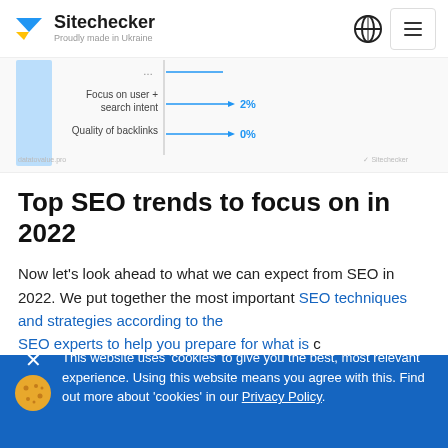Sitechecker — Proudly made in Ukraine
[Figure (other): Partial horizontal bar chart showing SEO priorities. Visible entries: 'Focus on user + search intent' → 2%, 'Quality of backlinks' → 0%. A tall light-blue bar is visible on the left side. Axis divides labels from values.]
Top SEO trends to focus on in 2022
Now let's look ahead to what we can expect from SEO in 2022. We put together the most important SEO techniques and strategies according to the SEO experts to help you prepare for what is coming in 2022.
This website uses 'cookies' to give you the best, most relevant experience. Using this website means you agree with this. Find out more about 'cookies' in our Privacy Policy.